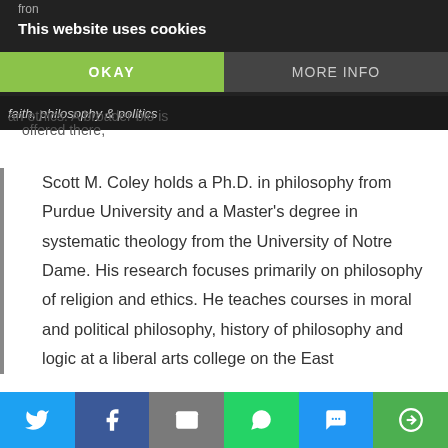This website uses cookies
faith, philosophy & politics
an ethics. A broader bio is offered there,
Scott M. Coley holds a Ph.D. in philosophy from Purdue University and a Master's degree in systematic theology from the University of Notre Dame. His research focuses primarily on philosophy of religion and ethics. He teaches courses in moral and political philosophy, history of philosophy and logic at a liberal arts college on the East
Social share bar: Twitter, Facebook, Email, WhatsApp, SMS, Other